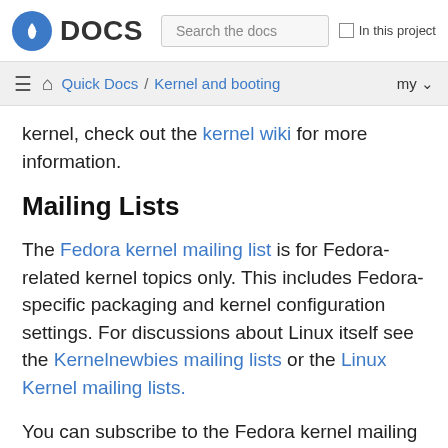Fedora DOCS | Search the docs | In this project
Quick Docs / Kernel and booting | my
kernel, check out the kernel wiki for more information.
Mailing Lists
The Fedora kernel mailing list is for Fedora-related kernel topics only. This includes Fedora-specific packaging and kernel configuration settings. For discussions about Linux itself see the Kernelnewbies mailing lists or the Linux Kernel mailing lists.
You can subscribe to the Fedora kernel mailing list